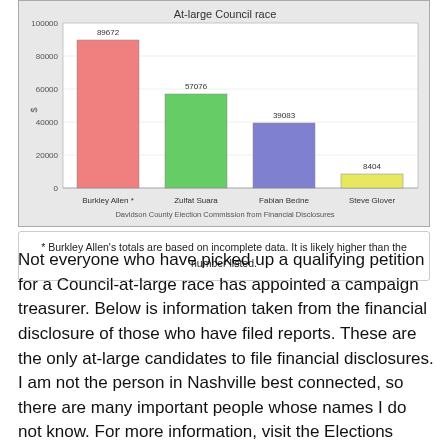[Figure (bar-chart): At-large Council race]
* Burkley Allen's totals are based on incomplete data. It is likely higher than the number listed.
Not everyone who have picked up a qualifying petition for a Council-at-large race has appointed a campaign treasurer. Below is information taken from the financial disclosure of those who have filed reports. These are the only at-large candidates to file financial disclosures. I am not the person in Nashville best connected, so there are many important people whose names I do not know. For more information, visit the Elections Commissions website and view the financial disclosures for yourself at this link.